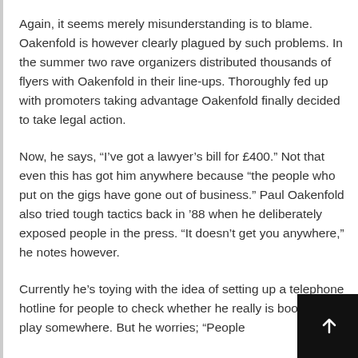Again, it seems merely misunderstanding is to blame. Oakenfold is however clearly plagued by such problems. In the summer two rave organizers distributed thousands of flyers with Oakenfold in their line-ups. Thoroughly fed up with promoters taking advantage Oakenfold finally decided to take legal action.
Now, he says, “I’ve got a lawyer’s bill for £400.” Not that even this has got him anywhere because “the people who put on the gigs have gone out of business.” Paul Oakenfold also tried tough tactics back in ’88 when he deliberately exposed people in the press. “It doesn’t get you anywhere,” he notes however.
Currently he’s toying with the idea of setting up a telephone hotline for people to check whether he really is booked to play somewhere. But he worries; “People